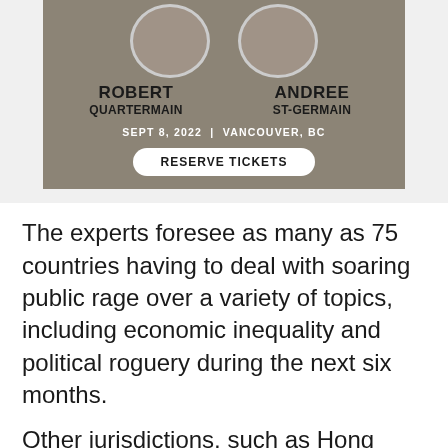[Figure (illustration): Event banner for Robert Quartermain and Andree St-Germain, Sept 8 2022, Vancouver BC, with Reserve Tickets button]
The experts foresee as many as 75 countries having to deal with soaring public rage over a variety of topics, including economic inequality and political roguery during the next six months.
Other jurisdictions, such as Hong Kong and Chile, which saw the greatest increases in risk over the last year, are unlikely to improve over the next two